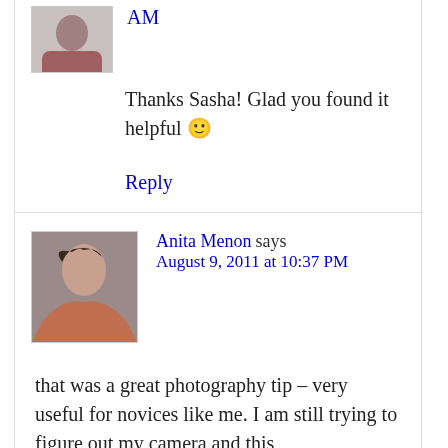AM
Thanks Sasha! Glad you found it helpful 🙂
Reply
Anita Menon says
August 9, 2011 at 10:37 PM
that was a great photography tip – very useful for novices like me. I am still trying to figure out my camera and this